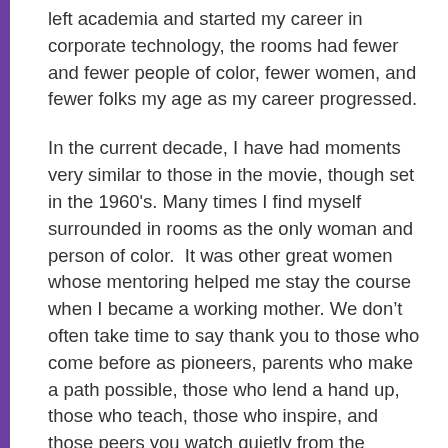left academia and started my career in corporate technology, the rooms had fewer and fewer people of color, fewer women, and fewer folks my age as my career progressed.
In the current decade, I have had moments very similar to those in the movie, though set in the 1960's. Many times I find myself surrounded in rooms as the only woman and person of color.  It was other great women whose mentoring helped me stay the course when I became a working mother. We don't often take time to say thank you to those who come before as pioneers, parents who make a path possible, those who lend a hand up, those who teach, those who inspire, and those peers you watch quietly from the sidelines to say just seeing you in class/work helps today. So thank you to the those who felt it important to make this movie.  It is has been a “green light” that reminds me to keep going.